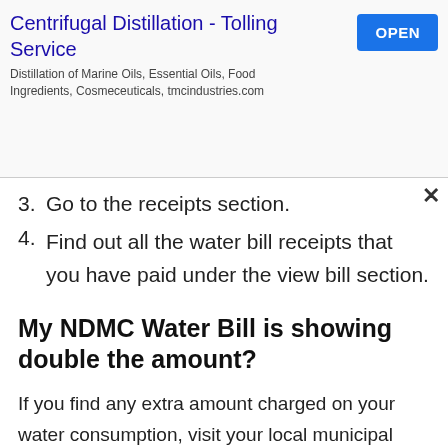[Figure (other): Advertisement banner for Centrifugal Distillation - Tolling Service. Shows title in blue, description text, and an OPEN button in blue.]
3. Go to the receipts section.
4. Find out all the water bill receipts that you have paid under the view bill section.
My NDMC Water Bill is showing double the amount?
If you find any extra amount charged on your water consumption, visit your local municipal office with water connection number. So visit the inquiry counter to put your doubt and the same may